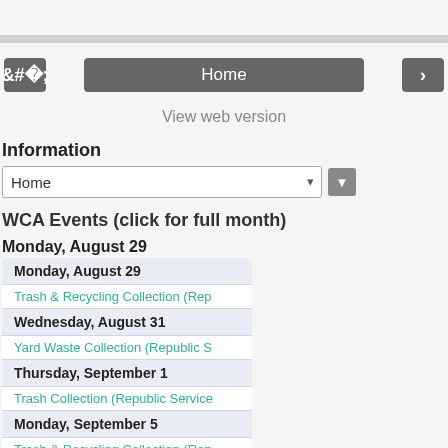< Home >
View web version
Information
Home (dropdown)
WCA Events (click for full month)
Monday, August 29
Monday, August 29
Trash & Recycling Collection (Rep
Wednesday, August 31
Yard Waste Collection (Republic S
Thursday, September 1
Trash Collection (Republic Service
Monday, September 5
Trash & Recycling Collection (Rep
Wednesday, September 7